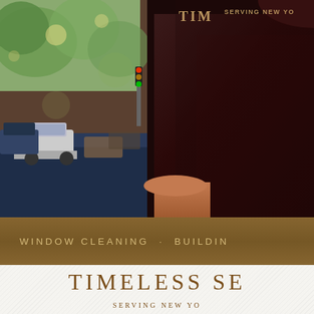[Figure (photo): Close-up photo of a person wearing a dark brown/maroon uniform shirt with golden text, standing on a city street with blurred cars and trees in background. Text on shirt reads 'TIM...' and 'SERVING NEW YO...']
WINDOW CLEANING · BUILDIN
TIMELESS SE
SERVING NEW YO...